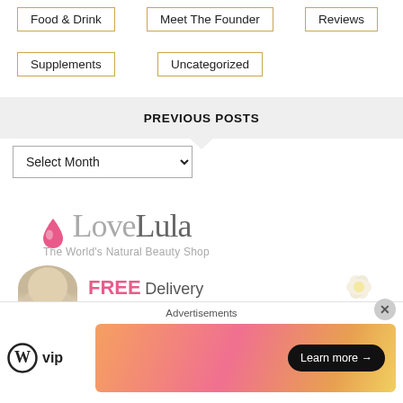Food & Drink
Meet The Founder
Reviews
Supplements
Uncategorized
PREVIOUS POSTS
Select Month (dropdown)
[Figure (logo): LoveLula - The World's Natural Beauty Shop logo with pink drop icon and tagline. Below shows partial banner with FREE Delivery text and person's head.]
Advertisements
[Figure (logo): WordPress VIP logo]
[Figure (other): Learn more button on gradient orange-pink banner]